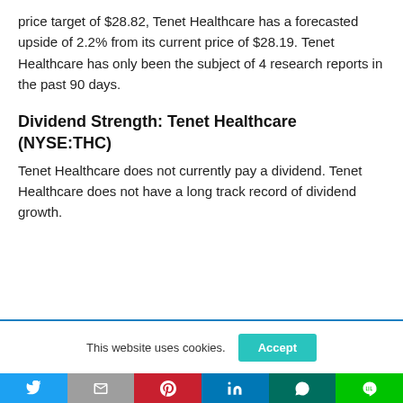price target of $28.82, Tenet Healthcare has a forecasted upside of 2.2% from its current price of $28.19. Tenet Healthcare has only been the subject of 4 research reports in the past 90 days.
Dividend Strength: Tenet Healthcare (NYSE:THC)
Tenet Healthcare does not currently pay a dividend. Tenet Healthcare does not have a long track record of dividend growth.
This website uses cookies.
[Figure (other): Social share bar with Twitter, Gmail, Pinterest, LinkedIn, WhatsApp, and LINE buttons]